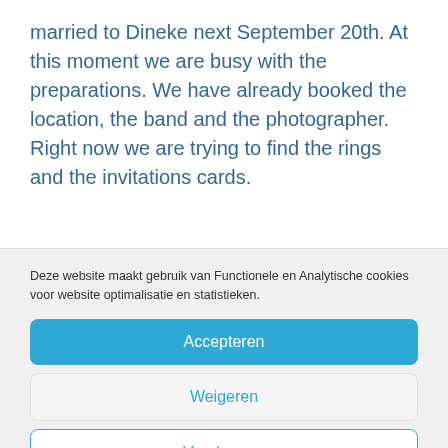married to Dineke next September 20th. At this moment we are busy with the preparations. We have already booked the location, the band and the photographer. Right now we are trying to find the rings and the invitations cards.
Deze website maakt gebruik van Functionele en Analytische cookies voor website optimalisatie en statistieken.
Accepteren
Weigeren
Voorkeuren
Cookiebeleid  Privacyverklaring